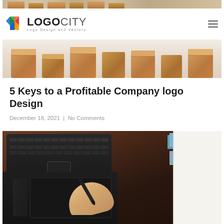LOGOCITY - Logo Design and Vectors
[Figure (photo): Partial view of cardboard boxes photo at top of article card]
5 Keys to a Profitable Company logo Design
December 18, 2021 | No Comments
[Figure (photo): Person using a graphics tablet and stylus pen at a desk with a laptop, sticky notes, and a notepad]